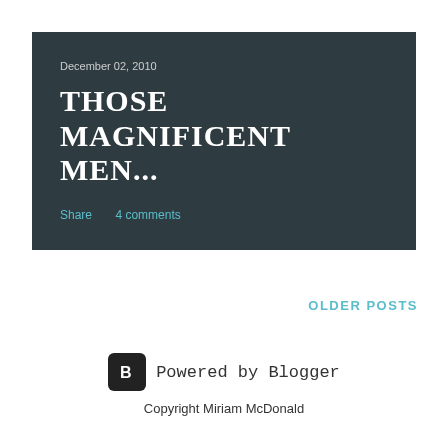December 02, 2010
THOSE MAGNIFICENT MEN...
Share   4 comments
OLDER POSTS
[Figure (logo): Blogger logo icon — black rounded square with white 'B' letter]
Powered by Blogger
Copyright Miriam McDonald